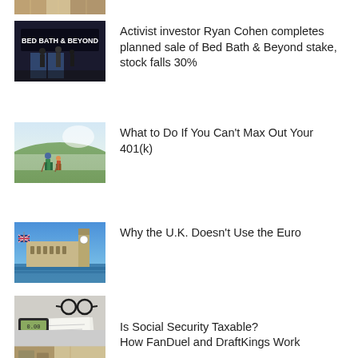[Figure (photo): Partial image at top, cropped — money/currency related image]
Activist investor Ryan Cohen completes planned sale of Bed Bath & Beyond stake, stock falls 30%
[Figure (photo): Bed Bath & Beyond store front]
What to Do If You Can't Max Out Your 401(k)
[Figure (photo): Two hikers walking on a misty hillside]
Why the U.K. Doesn't Use the Euro
[Figure (photo): Big Ben and Houses of Parliament with UK flag]
Is Social Security Taxable?
[Figure (photo): Calculator, glasses, and tax documents]
How FanDuel and DraftKings Work
[Figure (photo): Partial image at bottom, cropped]